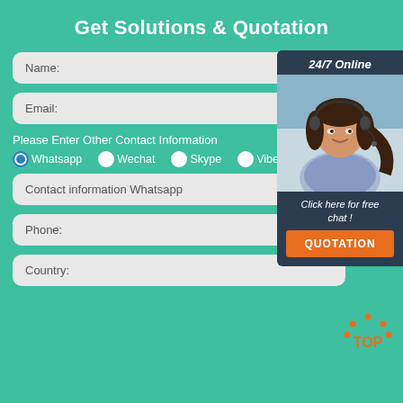Get Solutions & Quotation
Name:
Email:
Please Enter Other Contact Information
Whatsapp  Wechat  Skype  Viber
Contact information Whatsapp
[Figure (photo): Customer service representative with headset, smiling. Panel shows '24/7 Online', 'Click here for free chat!', and orange QUOTATION button.]
Phone:
Country: